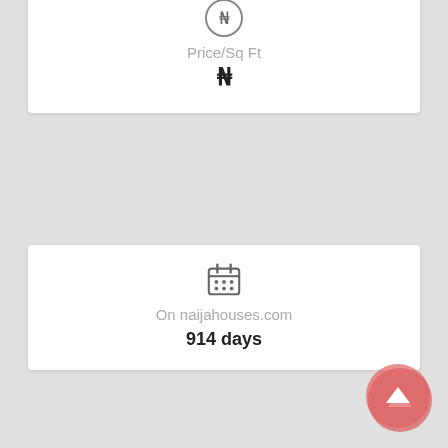[Figure (infographic): Card showing Price/Sq Ft label with Nigerian Naira symbol ₦ and a ruler/price icon at top]
[Figure (infographic): Card showing calendar icon, label 'On naijahouses.com', value '914 days']
[Figure (infographic): Card showing house icon, label 'Type', value 'Flats / Apar']
[Figure (infographic): Card showing clock icon, label 'Built']